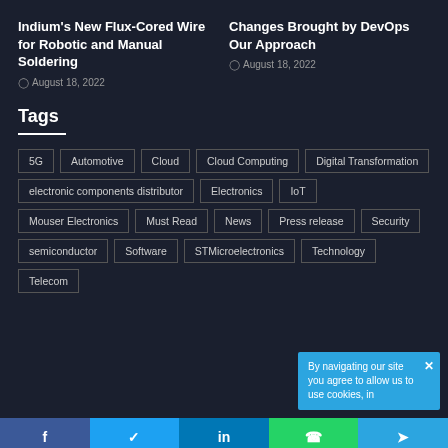Indium's New Flux-Cored Wire for Robotic and Manual Soldering
August 18, 2022
Changes Brought by DevOps Our Approach
August 18, 2022
Tags
5G
Automotive
Cloud
Cloud Computing
Digital Transformation
electronic components distributor
Electronics
IoT
Mouser Electronics
Must Read
News
Press release
Security
semiconductor
Software
STMicroelectronics
Technology
Telecom
By navigating our site you agree to allow us to use cookies, in
f  t  in  WhatsApp  Telegram